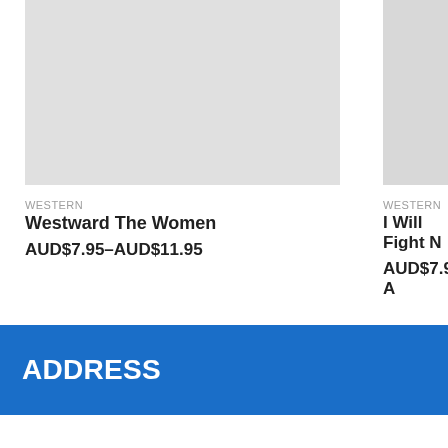[Figure (photo): Gray placeholder image for Westward The Women product card (left, partially visible)]
WESTERN
Westward The Women
AUD$7.95–AUD$11.95
[Figure (photo): Gray placeholder image for I Will Fight N... product card (right, partially cropped)]
WESTERN
I Will Fight N
AUD$7.95–A
ADDRESS